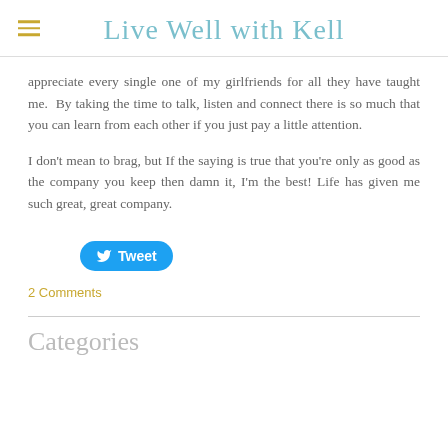Live Well with Kell
appreciate every single one of my girlfriends for all they have taught me.  By taking the time to talk, listen and connect there is so much that you can learn from each other if you just pay a little attention.
I don't mean to brag, but If the saying is true that you're only as good as the company you keep then damn it, I'm the best! Life has given me such great, great company.
[Figure (other): Tweet button]
2 Comments
Categories